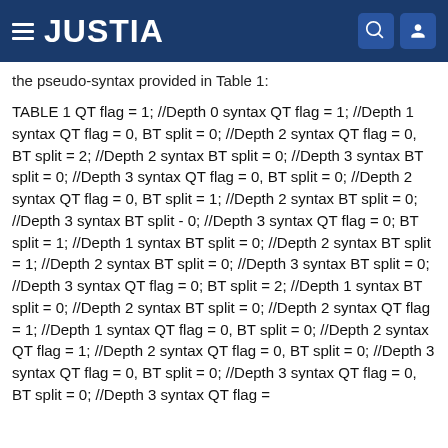JUSTIA
the pseudo-syntax provided in Table 1:
TABLE 1 QT flag = 1; //Depth 0 syntax QT flag = 1; //Depth 1 syntax QT flag = 0, BT split = 0; //Depth 2 syntax QT flag = 0, BT split = 2; //Depth 2 syntax BT split = 0; //Depth 3 syntax BT split = 0; //Depth 3 syntax QT flag = 0, BT split = 0; //Depth 2 syntax QT flag = 0, BT split = 1; //Depth 2 syntax BT split = 0; //Depth 3 syntax BT split - 0; //Depth 3 syntax QT flag = 0; BT split = 1; //Depth 1 syntax BT split = 0; //Depth 2 syntax BT split = 1; //Depth 2 syntax BT split = 0; //Depth 3 syntax BT split = 0; //Depth 3 syntax QT flag = 0; BT split = 2; //Depth 1 syntax BT split = 0; //Depth 2 syntax BT split = 0; //Depth 2 syntax QT flag = 1; //Depth 1 syntax QT flag = 0, BT split = 0; //Depth 2 syntax QT flag = 1; //Depth 2 syntax QT flag = 0, BT split = 0; //Depth 3 syntax QT flag = 0, BT split = 0; //Depth 3 syntax QT flag = 0, BT split = 0; //Depth 3 syntax QT flag =